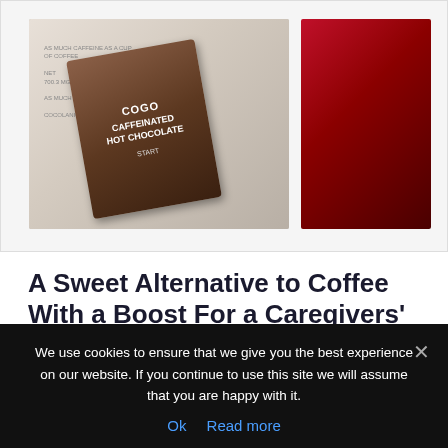[Figure (photo): Two photos side by side: left shows a COGO Caffeinated Hot Chocolate packet; right shows a dark red close-up image.]
A Sweet Alternative to Coffee With a Boost For a Caregivers' Energy
Need extra caffeine but don't like coffee? Me too! But I do love hot chocolate and I found one with as much caffeine as a cup of coffee. Sweet!
We use cookies to ensure that we give you the best experience on our website. If you continue to use this site we will assume that you are happy with it.
Ok   Read more